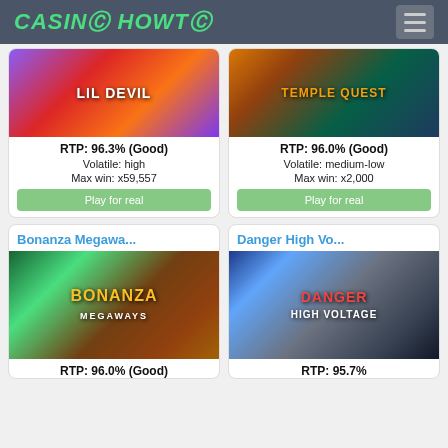CASINO HOWTO
[Figure (screenshot): Lil Devil slot game thumbnail]
RTP: 96.3% (Good)
Volatile: high
Max win: x59,557
Play for real
[Figure (screenshot): Temple Quest slot game thumbnail]
RTP: 96.0% (Good)
Volatile: medium-low
Max win: x2,000
Play for real
Bonanza Megawa...
[Figure (screenshot): Bonanza Megaways slot game thumbnail]
RTP: 96.0% (Good)
Danger High Vo...
[Figure (screenshot): Danger High Voltage slot game thumbnail]
RTP: 95.7%